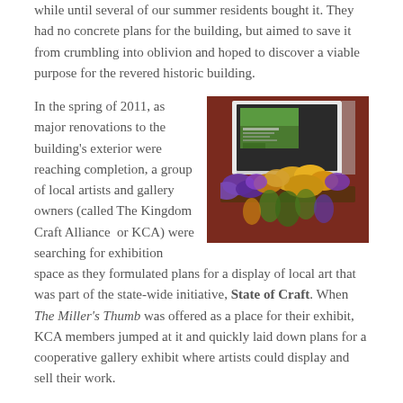while until several of our summer residents bought it. They had no concrete plans for the building, but aimed to save it from crumbling into oblivion and hoped to discover a viable purpose for the revered historic building.
In the spring of 2011, as major renovations to the building's exterior were reaching completion, a group of local artists and gallery owners (called The Kingdom Craft Alliance  or KCA) were searching for exhibition space as they formulated plans for a display of local art that was part of the state-wide initiative, State of Craft. When The Miller's Thumb was offered as a place for their exhibit, KCA members jumped at it and quickly laid down plans for a cooperative gallery exhibit where artists could display and sell their work.
[Figure (photo): Photo of a red-sided building exterior showing a window box overflowing with purple and yellow flowers, with a framed poster/sign visible in the window above.]